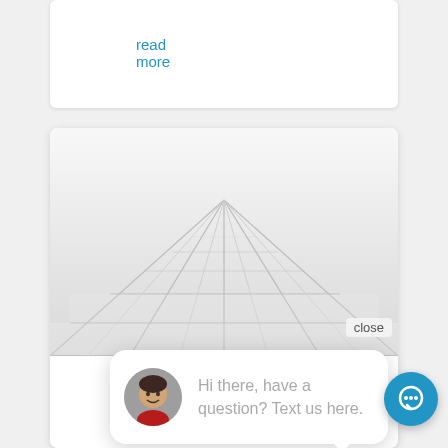read more
[Figure (photo): White/light gray floor tiles photographed from a low perspective angle, showing grout lines converging into the distance]
close
Hi there, have a question? Text us here.
Why Everyone Is Wrong About Bathroom Tile Ideas in Fort